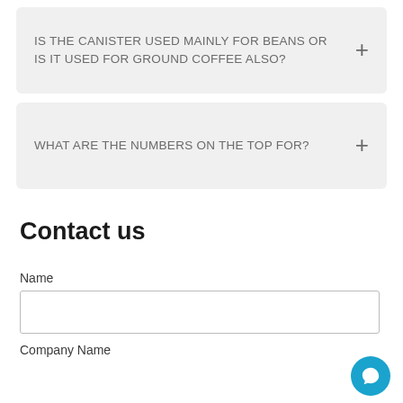IS THE CANISTER USED MAINLY FOR BEANS OR IS IT USED FOR GROUND COFFEE ALSO?
WHAT ARE THE NUMBERS ON THE TOP FOR?
Contact us
Name
Company Name